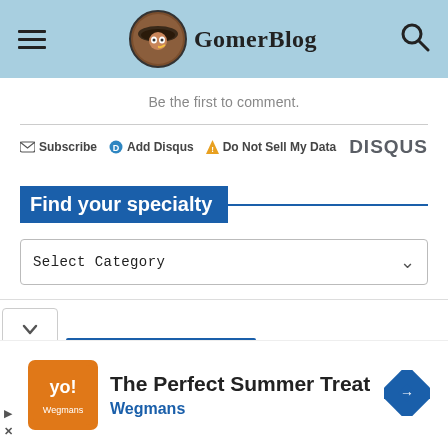GomerBlog
Be the first to comment.
Subscribe  Add Disqus  Do Not Sell My Data  DISQUS
Find your specialty
Select Category
[Figure (screenshot): Ad banner: The Perfect Summer Treat - Wegmans]
The Perfect Summer Treat Wegmans